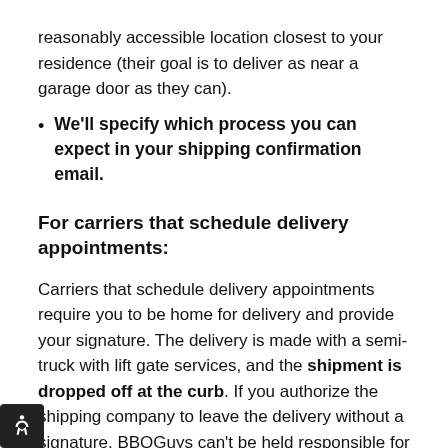reasonably accessible location closest to your residence (their goal is to deliver as near a garage door as they can).
We'll specify which process you can expect in your shipping confirmation email.
For carriers that schedule delivery appointments:
Carriers that schedule delivery appointments require you to be home for delivery and provide your signature. The delivery is made with a semi-truck with lift gate services, and the shipment is dropped off at the curb. If you authorize the shipping company to leave the delivery without a signature, BBQGuys can't be held responsible for damages that occur during delivery. As complicated as this process may seem, we've only scratched the surface here — please review our detailed guide to freight delivery there are no surprises when a freight shipment